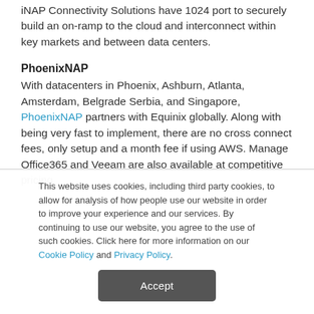iNAP Connectivity Solutions have 1024 port to securely build an on-ramp to the cloud and interconnect within key markets and between data centers.
PhoenixNAP
With datacenters in Phoenix, Ashburn, Atlanta, Amsterdam, Belgrade Serbia, and Singapore, PhoenixNAP partners with Equinix globally. Along with being very fast to implement, there are no cross connect fees, only setup and a month fee if using AWS. Manage Office365 and Veeam are also available at competitive pricing.
This website uses cookies, including third party cookies, to allow for analysis of how people use our website in order to improve your experience and our services. By continuing to use our website, you agree to the use of such cookies. Click here for more information on our Cookie Policy and Privacy Policy.